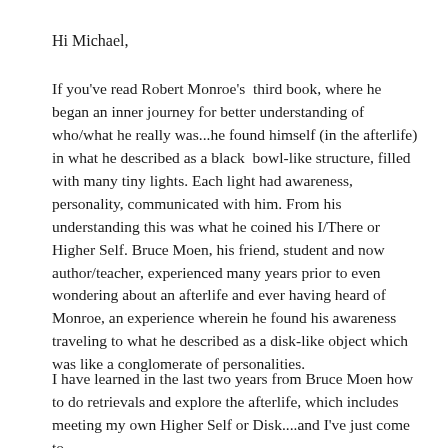Hi Michael,
If you've read Robert Monroe's  third book, where he began an inner journey for better understanding of who/what he really was...he found himself (in the afterlife) in what he described as a black  bowl-like structure, filled with many tiny lights. Each light had awareness, personality, communicated with him. From his understanding this was what he coined his I/There or Higher Self. Bruce Moen, his friend, student and now author/teacher, experienced many years prior to even wondering about an afterlife and ever having heard of Monroe, an experience wherein he found his awareness traveling to what he described as a disk-like object which was like a conglomerate of personalities.
I have learned in the last two years from Bruce Moen how to do retrievals and explore the afterlife, which includes meeting my own Higher Self or Disk....and I've just come to